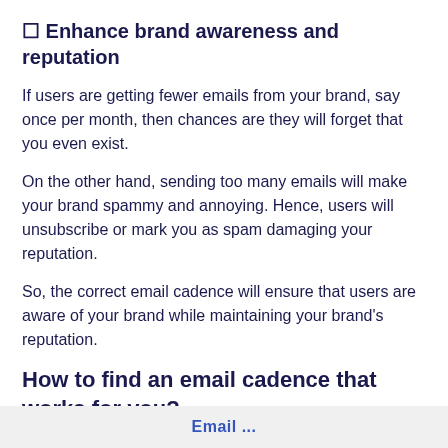☐ Enhance brand awareness and reputation
If users are getting fewer emails from your brand, say once per month, then chances are they will forget that you even exist.
On the other hand, sending too many emails will make your brand spammy and annoying. Hence, users will unsubscribe or mark you as spam damaging your reputation.
So, the correct email cadence will ensure that users are aware of your brand while maintaining your brand's reputation.
How to find an email cadence that works for you?